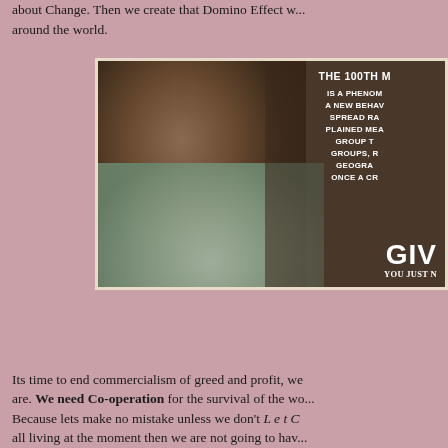about Change. Then we create that Domino Effect w... around the world.
[Figure (photo): Photo of a baby orangutan wrapped in a light blue/green towel, with overlaid text reading 'THE 100TH M... IS A PHENOM... A NEW BEHAV... SPREAD RA... PLAINED MEA... GROUP T... GROUPS, R... GEOGRA... ONCE A CR...' and at the bottom right 'GIV... YOU JUST N...']
Its time to end commercialism of greed and profit, we are. We need Co-operation for the survival of the wo... Because lets make no mistake unless we don't Let C... all living at the moment then we are not going to hav...